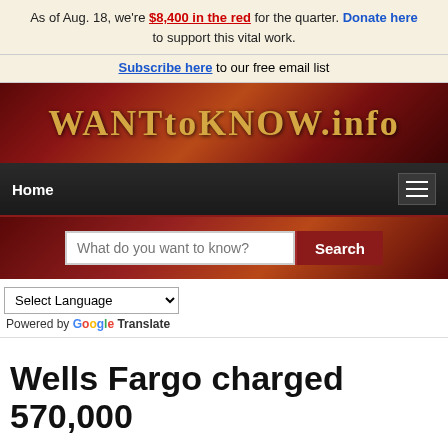As of Aug. 18, we're $8,400 in the red for the quarter. Donate here to support this vital work.
Subscribe here to our free email list
[Figure (logo): WantToKnow.info website logo banner with golden text on dark red/brown gradient background]
Home [hamburger menu icon]
[Figure (screenshot): Search bar with placeholder text 'What do you want to know?' and a red Search button]
Select Language (dropdown) Powered by Google Translate
Wells Fargo charged 570,000